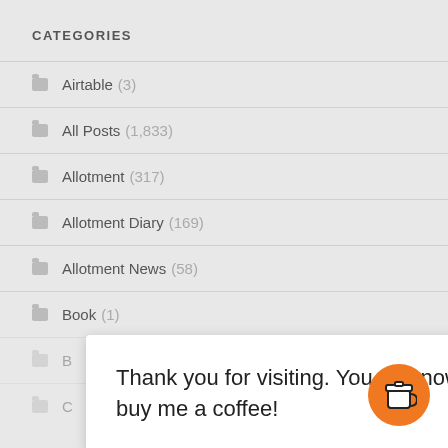CATEGORIES
Airtable (3)
All Posts (1,833)
Allotment (317)
Allotment Diary (169)
Allotment News (58)
Book (1)
Thank you for visiting. You can now buy me a coffee!